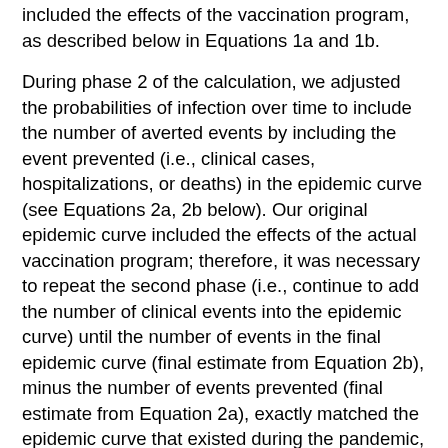included the effects of the vaccination program, as described below in Equations 1a and 1b.
During phase 2 of the calculation, we adjusted the probabilities of infection over time to include the number of averted events by including the event prevented (i.e., clinical cases, hospitalizations, or deaths) in the epidemic curve (see Equations 2a, 2b below). Our original epidemic curve included the effects of the actual vaccination program; therefore, it was necessary to repeat the second phase (i.e., continue to add the number of clinical events into the epidemic curve) until the number of events in the final epidemic curve (final estimate from Equation 2b), minus the number of events prevented (final estimate from Equation 2a), exactly matched the epidemic curve that existed during the pandemic, week by week, for each population subgroup. This enabled us to estimate the direct effects of the